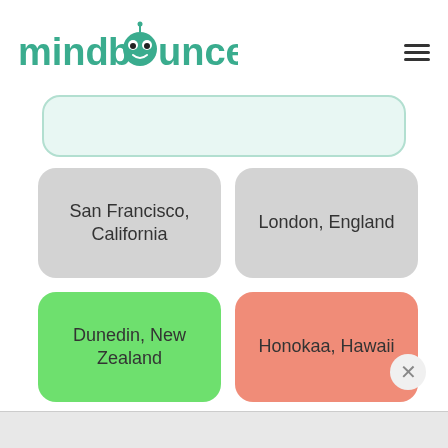[Figure (logo): Mindbounce logo — colorful text logo with teal/green lettering and a cartoon face integrated into the letter 'o']
San Francisco, California
London, England
Dunedin, New Zealand
Honokaa, Hawaii